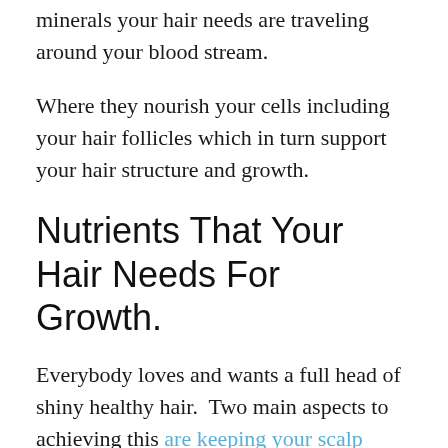minerals your hair needs are traveling around your blood stream.
Where they nourish your cells including your hair follicles which in turn support your hair structure and growth.
Nutrients That Your Hair Needs For Growth.
Everybody loves and wants a full head of shiny healthy hair.  Two main aspects to achieving this are keeping your scalp clean and healthy and consuming the correct